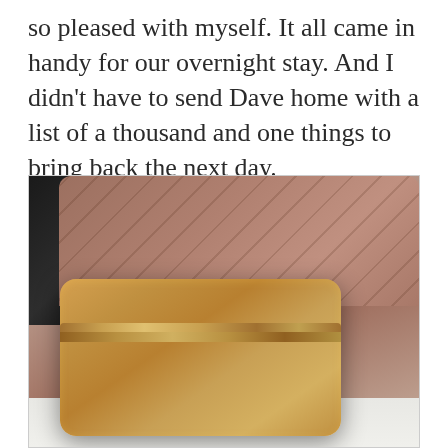so pleased with myself. It all came in handy for our overnight stay. And I didn't have to send Dave home with a list of a thousand and one things to bring back the next day.
[Figure (photo): Photo showing a rose gold/gold metallic makeup bag with zipper in the foreground, a brown textured logo-embossed bag in the background, and a black device on the left side, all on a white surface.]